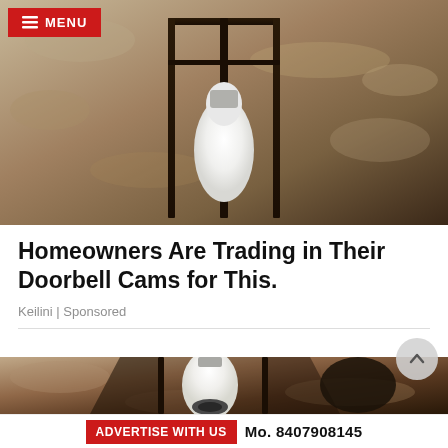[Figure (photo): Top portion of an outdoor lantern-style security camera mounted on a stone/stucco wall, showing a black metal frame cage light fixture with a white bulb-shaped camera inside]
MENU
Homeowners Are Trading in Their Doorbell Cams for This.
Keilini | Sponsored
[Figure (photo): Bottom portion of a black lantern-style outdoor light fixture housing a security camera with a white bulb-shaped body, mounted on a rough stone/stucco wall]
ADVERTISE WITH US   Mo. 8407908145